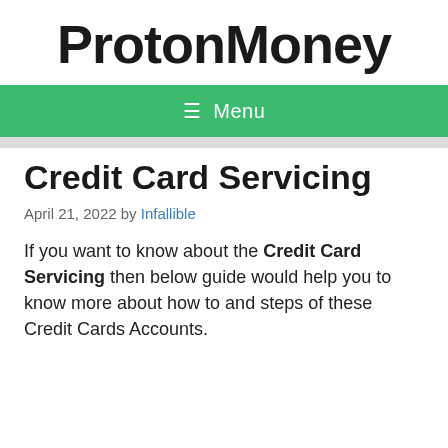ProtonMoney
☰ Menu
Credit Card Servicing
April 21, 2022 by Infallible
If you want to know about the Credit Card Servicing then below guide would help you to know more about how to and steps of these Credit Cards Accounts.